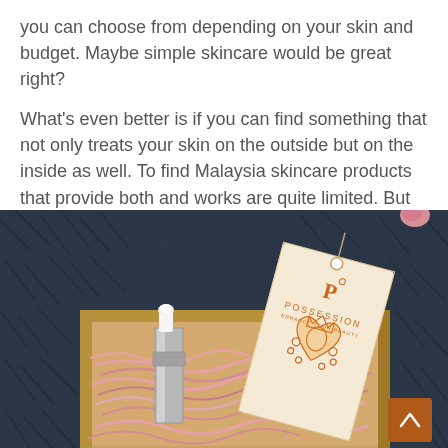you can choose from depending on your skin and budget. Maybe simple skincare would be great right?
What's even better is if you can find something that not only treats your skin on the outside but on the inside as well. To find Malaysia skincare products that provide both and works are quite limited. But of course, Yours Truly will search for the finest and best for YOU!
[Figure (photo): A product photo showing a 'Possession' branded skincare gift box with a decorative tag featuring a crown illustration, set on dark furry fabric background. A dropper bottle is visible in the wooden box with pink tissue paper.]